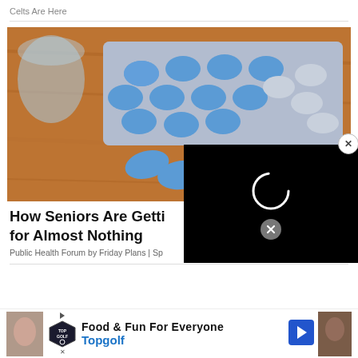Celts Are Here
[Figure (photo): Blue pills (Viagra-like tablets) on a blister pack on a wooden surface with a glass of water]
How Seniors Are Getting [Viagra] for Almost Nothing
Public Health Forum by Friday Plans | Sp[onsored]
[Figure (screenshot): Black video player overlay with spinning loading circle and small close button]
[Figure (infographic): Topgolf advertisement banner: Food & Fun For Everyone, Topgolf, with logo and navigation arrow]